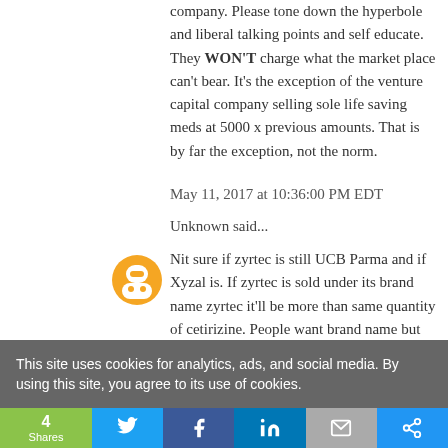company. Please tone down the hyperbole and liberal talking points and self educate. They WON'T charge what the market place can't bear. It's the exception of the venture capital company selling sole life saving meds at 5000 x previous amounts. That is by far the exception, not the norm.
May 11, 2017 at 10:36:00 PM EDT
Unknown said...
Nit sure if zyrtec is still UCB Parma and if Xyzal is. If zyrtec is sold under its brand name zyrtec it'll be more than same quantity of cetirizine. People want brand name but get the same thing. Xyzal in the other hand generic or branded is a superior product to both
This site uses cookies for analytics, ads, and social media. By using this site, you agree to its use of cookies.
4 Shares